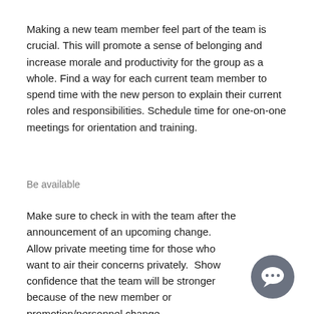Making a new team member feel part of the team is crucial. This will promote a sense of belonging and increase morale and productivity for the group as a whole. Find a way for each current team member to spend time with the new person to explain their current roles and responsibilities. Schedule time for one-on-one meetings for orientation and training.
Be available
Make sure to check in with the team after the announcement of an upcoming change.  Allow private meeting time for those who want to air their concerns privately.  Show confidence that the team will be stronger because of the new member or promotion/personnel change.